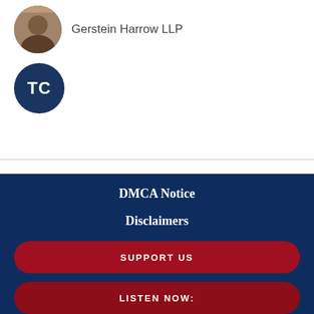[Figure (photo): Circular profile photo of a person, partially cropped at top]
Gerstein Harrow LLP
[Figure (illustration): Dark navy blue circle with white initials TC]
DMCA Notice
Disclaimers
SUPPORT US
LISTEN NOW: